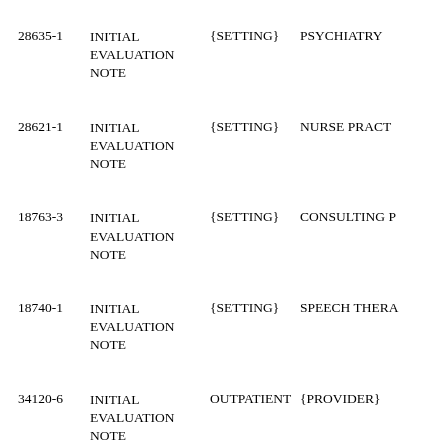| ID | Note Type | Setting | Specialty |
| --- | --- | --- | --- |
| 28635-1 | INITIAL EVALUATION NOTE | {SETTING} | PSYCHIATRY |
| 28621-1 | INITIAL EVALUATION NOTE | {SETTING} | NURSE PRACT |
| 18763-3 | INITIAL EVALUATION NOTE | {SETTING} | CONSULTING P |
| 18740-1 | INITIAL EVALUATION NOTE | {SETTING} | SPEECH THERA |
| 34120-6 | INITIAL EVALUATION NOTE | OUTPATIENT | {PROVIDER} |